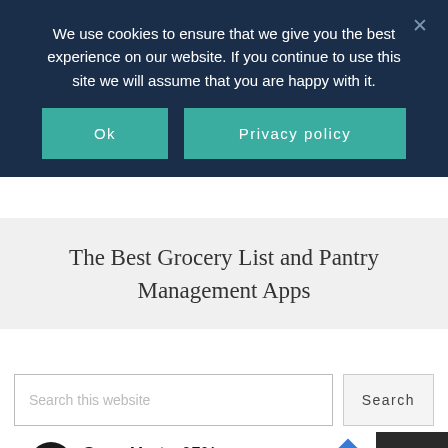We use cookies to ensure that we give you the best experience on our website. If you continue to use this site we will assume that you are happy with it.
Ok
Privacy policy
The Best Grocery List and Pantry Management Apps
Search this website
Search
Save Up to 65% Leesburg Premium Outlets